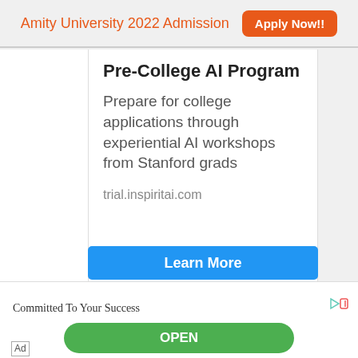Amity University 2022 Admission  Apply Now!!
Pre-College AI Program
Prepare for college applications through experiential AI workshops from Stanford grads
trial.inspiritai.com
[Figure (other): Blue 'Learn More' button (partially visible at bottom of main ad card)]
Committed To Your Success
[Figure (other): Green 'OPEN' button in bottom ad section]
Ad